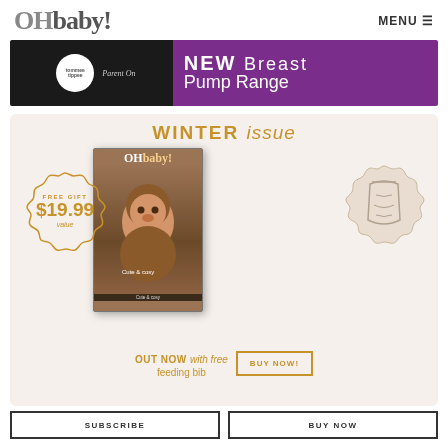OHbaby! MENU
[Figure (illustration): Advertisement banner for Tommee Tippee Parent On NEW Breast Pump Range, dark background with purple section on right]
[Figure (illustration): OHbaby! Winter issue promotion box with magazine cover showing baby in brown bear outfit, free gift $19.99 value badge, and feeding bib image. Text: WINTER issue, FREE GIFT $19.99 value, OUT NOW with free feeding bib, BUY NOW button]
SUBSCRIBE
BUY NOW